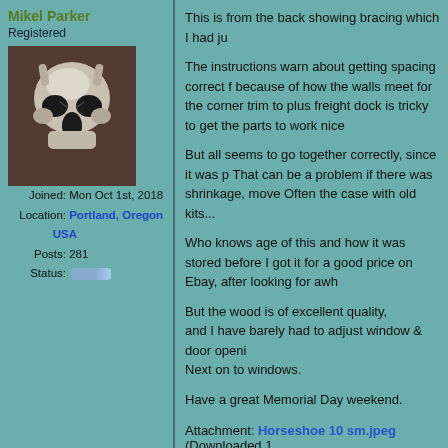Mikel Parker
Registered
[Figure (photo): Avatar photo of an animal skull (deer/elk skull) mounted on a reddish-brown wall, viewed from the front, in black and white tones.]
Joined: Mon Oct 1st, 2018
Location: Portland, Oregon USA
Posts: 281
Status:
This is from the back showing bracing which I had ju

The instructions warn about getting spacing correct f because of how the walls meet for the corner trim to plus freight dock is tricky to get the parts to work nice

But all seems to go together correctly, since it was p That can be a problem if there was shrinkage, move Often the case with old kits...

Who knows age of this and how it was stored before I got it for a good price on Ebay, after looking for awh

But the wood is of excellent quality, and I have barely had to adjust window & door openi Next on to windows.

Have a great Memorial Day weekend.
Attachment: Horseshoe 10 sm.jpeg (Downloaded 1
mikel
Back To Top
Posted: Sat May 23rd, 2020 01:27 pm
Steven B
Registered
I remember this kit.